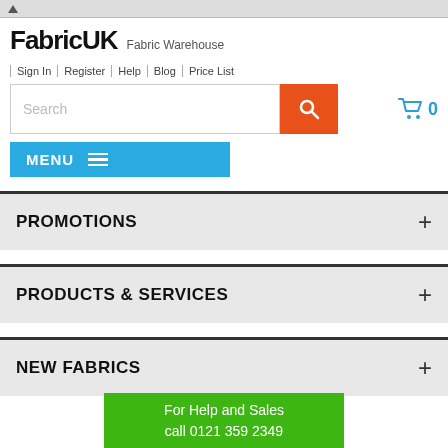FabricUK Fabric Warehouse
Sign In | Register | Help | Blog | Price List
[Figure (screenshot): Search bar with orange search button and shopping cart icon with count 0]
MENU
PROMOTIONS
PRODUCTS & SERVICES
NEW FABRICS
For Help and Sales call 0121 359 2349